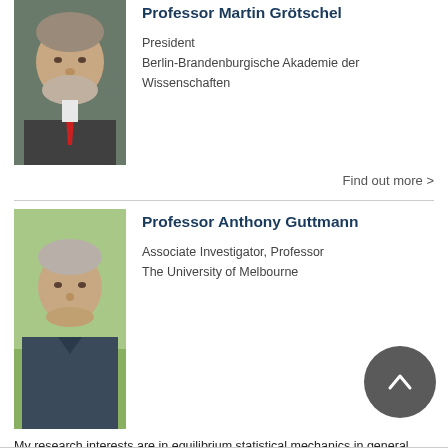[Figure (photo): Headshot of Professor Martin Grötschel, older man with grey beard wearing a suit and red tie]
Professor Martin Grötschel
President
Berlin-Brandenburgische Akademie der Wissenschaften
Find out more >
[Figure (photo): Headshot of Professor Anthony Guttmann, older man with grey hair in casual clothing outdoors]
Professor Anthony Guttmann
Associate Investigator, Professor
The University of Melbourne
My research interests are in equilibrium statistical mechanics in general, and more particularly in discrete models of phase transitions
Find out more >